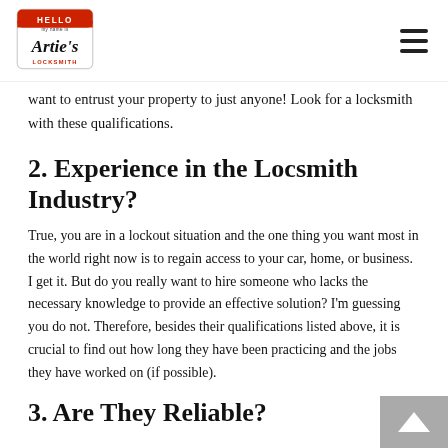Artie's Locksmith logo and navigation
want to entrust your property to just anyone! Look for a locksmith with these qualifications.
2. Experience in the Locsmith Industry?
True, you are in a lockout situation and the one thing you want most in the world right now is to regain access to your car, home, or business. I get it. But do you really want to hire someone who lacks the necessary knowledge to provide an effective solution? I'm guessing you do not. Therefore, besides their qualifications listed above, it is crucial to find out how long they have been practicing and the jobs they have worked on (if possible).
3. Are They Reliable?